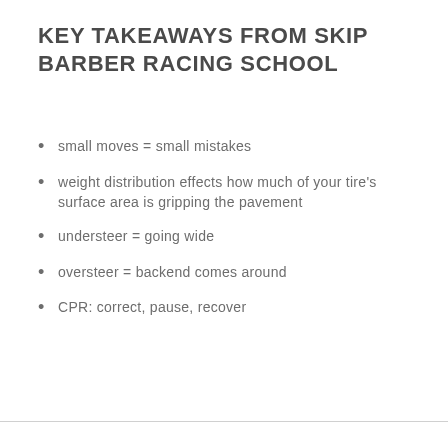KEY TAKEAWAYS FROM SKIP BARBER RACING SCHOOL
small moves = small mistakes
weight distribution effects how much of your tire's surface area is gripping the pavement
understeer = going wide
oversteer = backend comes around
CPR: correct, pause, recover